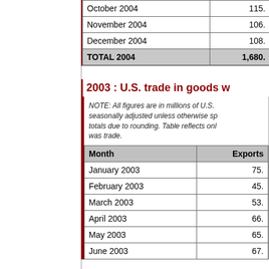| Month | Exports |
| --- | --- |
| October 2004 | 115. |
| November 2004 | 106. |
| December 2004 | 108. |
| TOTAL 2004 | 1,680. |
2003 : U.S. trade in goods w
NOTE: All figures are in millions of U.S. seasonally adjusted unless otherwise sp totals due to rounding. Table reflects onl was trade.
| Month | Exports |
| --- | --- |
| January 2003 | 75. |
| February 2003 | 45. |
| March 2003 | 53. |
| April 2003 | 66. |
| May 2003 | 65. |
| June 2003 | 67. |